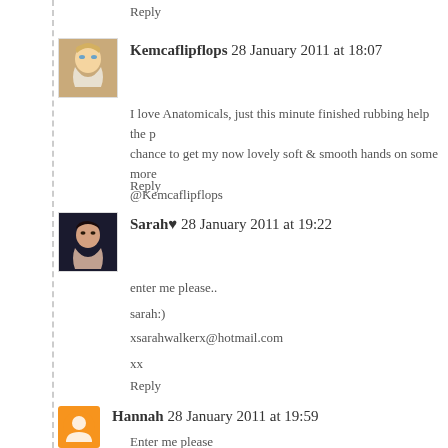Reply
Kemcaflipflops 28 January 2011 at 18:07
I love Anatomicals, just this minute finished rubbing help the p chance to get my now lovely soft & smooth hands on some more @Kemcaflipflops
Reply
Sarah♥ 28 January 2011 at 19:22
enter me please..
sarah:)
xsarahwalkerx@hotmail.com
xx
Reply
Hannah 28 January 2011 at 19:59
Enter me please Hannah Ross hanross49@hotmail.co.uk